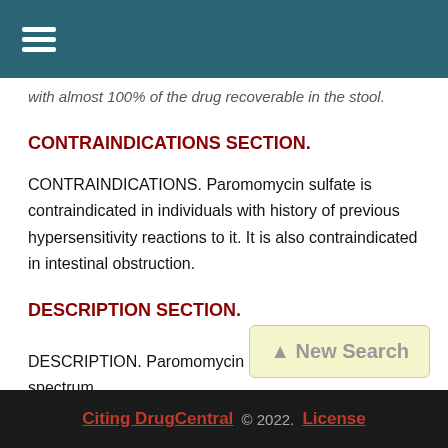☰ (navigation menu)
with almost 100% of the drug recoverable in the stool.
CONTRAINDICATIONS SECTION.
CONTRAINDICATIONS. Paromomycin sulfate is contraindicated in individuals with history of previous hypersensitivity reactions to it. It is also contraindicated in intestinal obstruction.
DESCRIPTION SECTION.
DESCRIPTION. Paromomycin sulfate is broad spectrum
Citing DrugCentral © 2022. License